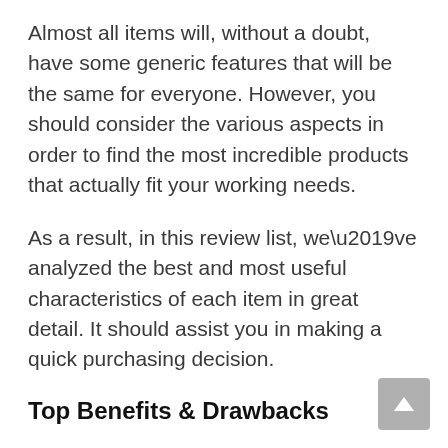Almost all items will, without a doubt, have some generic features that will be the same for everyone. However, you should consider the various aspects in order to find the most incredible products that actually fit your working needs.
As a result, in this review list, we’ve analyzed the best and most useful characteristics of each item in great detail. It should assist you in making a quick purchasing decision.
Top Benefits & Drawbacks
There is no such thing as 100 percent kindness or badness in the world. It simply means that your desired product will also have pros and cons. You must examine the top benefits of the ecco walking